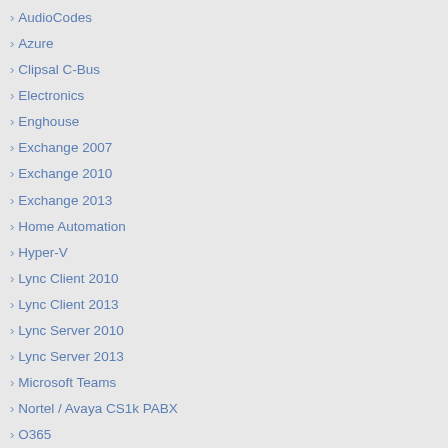› AudioCodes
› Azure
› Clipsal C-Bus
› Electronics
› Enghouse
› Exchange 2007
› Exchange 2010
› Exchange 2013
› Home Automation
› Hyper-V
› Lync Client 2010
› Lync Client 2013
› Lync Server 2010
› Lync Server 2013
› Microsoft Teams
› Nortel / Avaya CS1k PABX
› O365
› OCPE / LPE
› OCS
› PKI
› Polycom
› PowerShell
› PowerShell Scripts
› Product Review
› Random